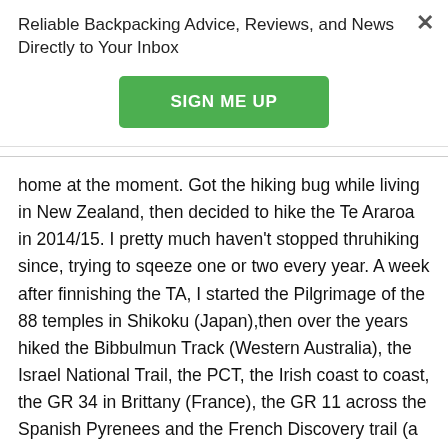×
Reliable Backpacking Advice, Reviews, and News Directly to Your Inbox
SIGN ME UP
home at the moment. Got the hiking bug while living in New Zealand, then decided to hike the Te Araroa in 2014/15. I pretty much haven't stopped thruhiking since, trying to sqeeze one or two every year. A week after finnishing the TA, I started the Pilgrimage of the 88 temples in Shikoku (Japan),then over the years hiked the Bibbulmun Track (Western Australia), the Israel National Trail, the PCT, the Irish coast to coast, the GR 34 in Brittany (France), the GR 11 across the Spanish Pyrenees and the French Discovery trail (a route of my own). I also did a lot of "regular distance" hiking in France, New Zealand, Australia, Iceland, Lanzarote. Took a few hiking road trips in Japan, where I hitch from one trailhead to another over the country. That